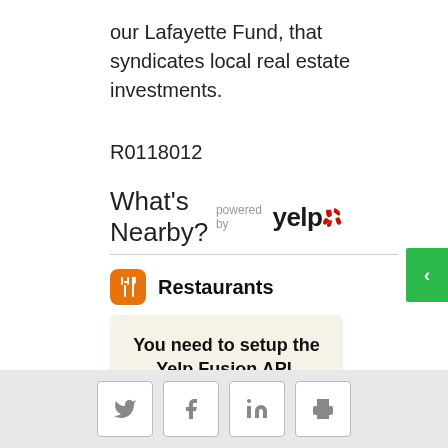our Lafayette Fund, that syndicates local real estate investments.
R0118012
What's Nearby?
[Figure (logo): Yelp logo with 'powered by' text]
Restaurants
You need to setup the Yelp Fusion API.
Go into Admin > Real Estate 7 Options > What's Nearby? > Create App
Social share icons: Twitter, Facebook, LinkedIn, Print